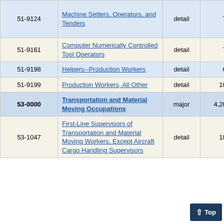| SOC Code | Occupation | Level | Employment | % Change |
| --- | --- | --- | --- | --- |
| 51-9124 | Machine Setters, Operators, and Tenders | detail | 70 | 31.5% |
| 51-9161 | Computer Numerically Controlled Tool Operators | detail | 70 | 14.6% |
| 51-9198 | Helpers--Production Workers | detail | 60 | 13.1% |
| 51-9199 | Production Workers, All Other | detail | 100 | 20.0% |
| 53-0000 | Transportation and Material Moving Occupations | major | 4,200 | 2.1% |
| 53-1047 | First-Line Supervisors of Transportation and Material Moving Workers, Except Aircraft Cargo Handling Supervisors | detail | 180 | 5.1% |